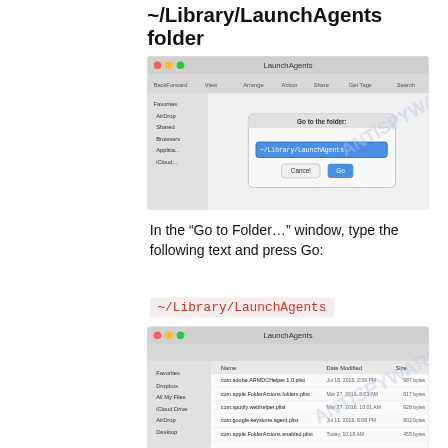~/Library/LaunchAgents folder
[Figure (screenshot): macOS Finder screenshot showing 'Go to Folder' dialog with ~/Library/LaunchAgents typed in the input field, with Cancel and Go buttons visible.]
In the “Go to Folder…” window, type the following text and press Go:
~/Library/LaunchAgents
[Figure (screenshot): macOS Finder window showing the LaunchAgents folder contents with files: com.adobe.ARMDCHelper.cc24aef4a1b90ed56a725c38a26369d3.plist, com.apple.FolderActions.folders.plist, com.spotify.webhelper.plist, com.google.keystone.agent.plist, com.apple.FolderActions.enabled.plist]
Proceed in the same way as with the “/Library/LaunchAgents” and “/Library/Application Support” folders. Look for suspicious and recently added files. Move all suspicious files to the Trash.